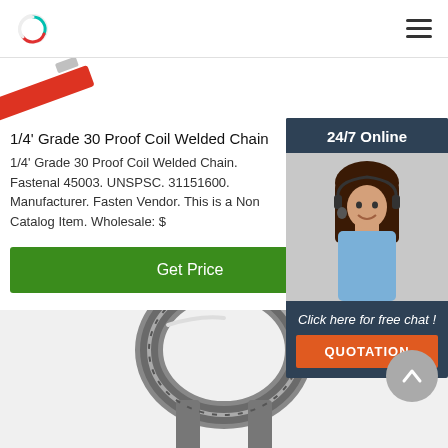[Figure (logo): Circular logo with teal and red arc, navigation bar with hamburger menu]
[Figure (photo): Red pencil or marker partially visible at top left]
1/4' Grade 30 Proof Coil Welded Chain
1/4' Grade 30 Proof Coil Welded Chain. Fastenal 45003. UNSPSC. 31151600. Manufacturer. Fasten Vendor. This is a Non Catalog Item. Wholesale: $
[Figure (photo): Sidebar ad with woman wearing headset, 24/7 Online header, Click here for free chat text, and QUOTATION button]
[Figure (photo): Close-up photo of a metal chain link/hook at bottom of page]
[Figure (other): Scroll-to-top circular button with upward chevron]